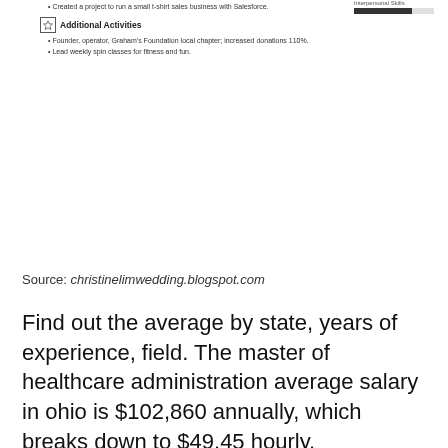Created a project to run a small t-shirt sales business with Salesforce.
Additional Activities
Founder, operator, Graham's Foundation local chapter; increased donations 110%.
Lead weekly spin classes for fitness and fun.
Source: christinelimwedding.blogspot.com
Find out the average by state, years of experience, field. The master of healthcare administration average salary in ohio is $102,860 annually, which breaks down to $49.45 hourly.